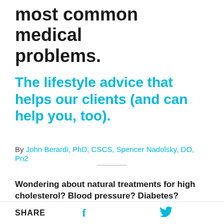most common medical problems.
The lifestyle advice that helps our clients (and can help you, too).
By John Berardi, PhD, CSCS, Spencer Nadolsky, DO, Pn2
Wondering about natural treatments for high cholesterol? Blood pressure? Diabetes? Autoimmune disease? Thyroid? Lots of clients come to us after being diagnosed with something
SHARE